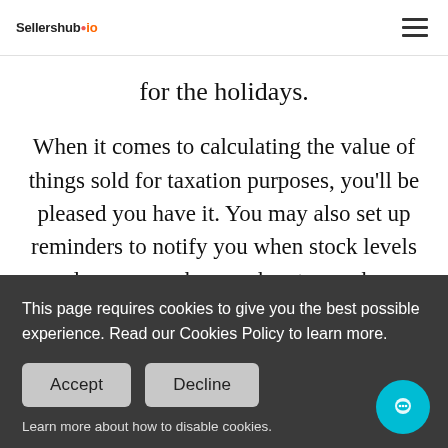Sellershub.io
for the holidays.
When it comes to calculating the value of things sold for taxation purposes, you'll be pleased you have it. You may also set up reminders to notify you when stock levels are low, so you know when to purchase. The more you sell, the more you have to worry about this, and setting alerts in the same
This page requires cookies to give you the best possible experience. Read our Cookies Policy to learn more.
Accept
Decline
Learn more about how to disable cookies.